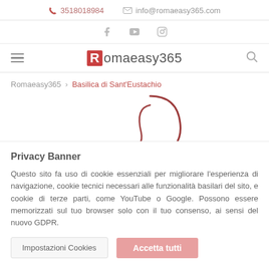3518018984   info@romaeasy365.com
[Figure (logo): Social media icons: Facebook, YouTube, Instagram]
Romaeasy365 - navigation bar with hamburger menu and search icon
Romaeasy365 > Basilica di Sant'Eustachio
[Figure (logo): Romaeasy365 arc logo watermark in dark red]
Privacy Banner
Questo sito fa uso di cookie essenziali per migliorare l'esperienza di navigazione, cookie tecnici necessari alle funzionalità basilari del sito, e cookie di terze parti, come YouTube o Google. Possono essere memorizzati sul tuo browser solo con il tuo consenso, ai sensi del nuovo GDPR.
Impostazioni Cookies   Accetta tutti